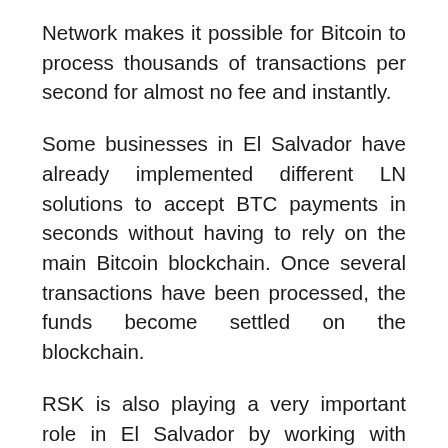Network makes it possible for Bitcoin to process thousands of transactions per second for almost no fee and instantly.
Some businesses in El Salvador have already implemented different LN solutions to accept BTC payments in seconds without having to rely on the main Bitcoin blockchain. Once several transactions have been processed, the funds become settled on the blockchain.
RSK is also playing a very important role in El Salvador by working with different companies that are now making it possible for users to pay with Bitcoin and use their BTC on